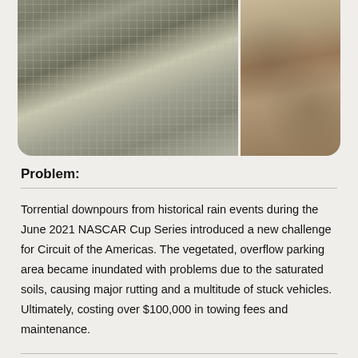[Figure (photo): Two side-by-side photos: left shows a grid/mesh mat laid over ground (vegetated parking area with ground reinforcement grid), right shows bare dry soil/grass ground surface.]
Problem:
Torrential downpours from historical rain events during the June 2021 NASCAR Cup Series introduced a new challenge for Circuit of the Americas. The vegetated, overflow parking area became inundated with problems due to the saturated soils, causing major rutting and a multitude of stuck vehicles. Ultimately, costing over $100,000 in towing fees and maintenance.